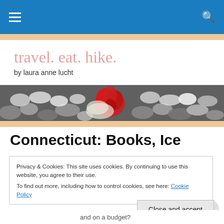Navigation bar with menu and search icons
travel. eat. hike.
by laura anne lucht
[Figure (photo): Close-up photo of smooth grey and white pebbles/stones with a single red hibiscus flower in the center]
Connecticut: Books, Ice
Privacy & Cookies: This site uses cookies. By continuing to use this website, you agree to their use.
To find out more, including how to control cookies, see here: Cookie Policy
and on a budget?